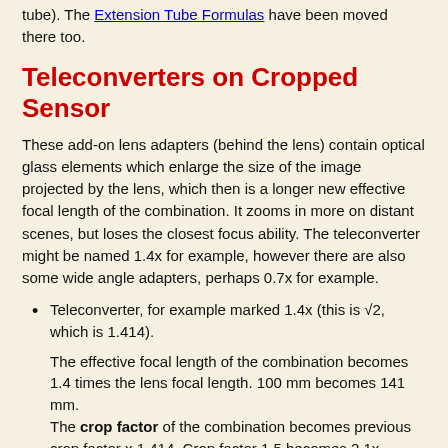tube). The Extension Tube Formulas have been moved there too.
Teleconverters on Cropped Sensor
These add-on lens adapters (behind the lens) contain optical glass elements which enlarge the size of the image projected by the lens, which then is a longer new effective focal length of the combination. It zooms in more on distant scenes, but loses the closest focus ability. The teleconverter might be named 1.4x for example, however there are also some wide angle adapters, perhaps 0.7x for example.
Teleconverter, for example marked 1.4x (this is √2, which is 1.414).
The effective focal length of the combination becomes 1.4 times the lens focal length. 100 mm becomes 141 mm.
The crop factor of the combination becomes previous crop factor x 1.414. Crop factor 1.5 becomes 2.1x.
A 1.4x converter reduces the Field of View by 1/1.4, to be 0.7x previous width.
A 1.4x converter increases the lens aperture numbers